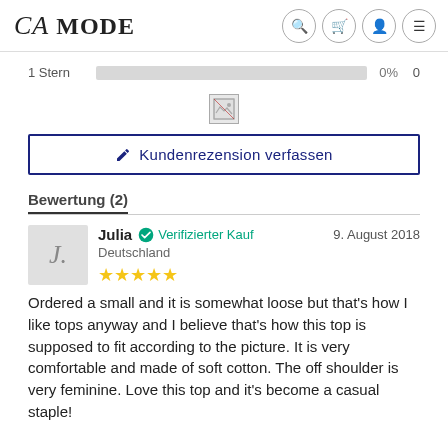CA MODE
1 Stern  0%  0
[Figure (photo): Broken image placeholder icon]
✎  Kundenrezension verfassen
Bewertung (2)
Julia ✔ Verifizierter Kauf  9. August 2018  Deutschland  ★★★★★
Ordered a small and it is somewhat loose but that's how I like tops anyway and I believe that's how this top is supposed to fit according to the picture. It is very comfortable and made of soft cotton. The off shoulder is very feminine. Love this top and it's become a casual staple!